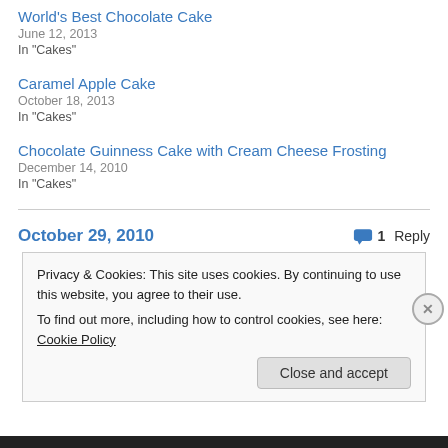World's Best Chocolate Cake
June 12, 2013
In "Cakes"
Caramel Apple Cake
October 18, 2013
In "Cakes"
Chocolate Guinness Cake with Cream Cheese Frosting
December 14, 2010
In "Cakes"
October 29, 2010   1 Reply
Privacy & Cookies: This site uses cookies. By continuing to use this website, you agree to their use.
To find out more, including how to control cookies, see here: Cookie Policy
Close and accept